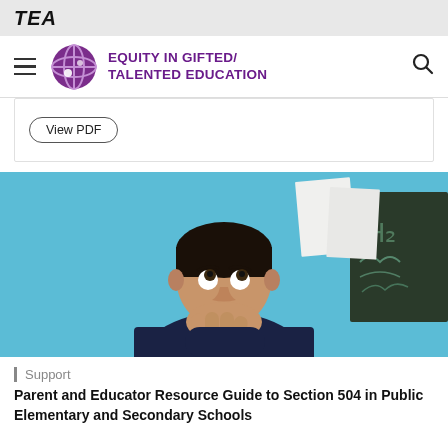TEA
EQUITY IN GIFTED/ TALENTED EDUCATION
View PDF
[Figure (photo): A young Hispanic boy sitting at a desk, resting his chin on his hand and looking upward thoughtfully. A chalkboard and blue wall are visible in the background.]
Support
Parent and Educator Resource Guide to Section 504 in Public Elementary and Secondary Schools